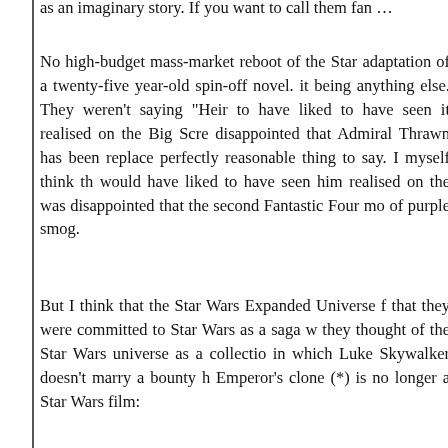as an imaginary story. If you want to call them fan …
No high-budget mass-market reboot of the Star adaptation of a twenty-five year-old spin-off novel. it being anything else. They weren't saying "Heir to have liked to have seen it realised on the Big Scre disappointed that Admiral Thrawn has been replace perfectly reasonable thing to say. I myself think th would have liked to have seen him realised on the was disappointed that the second Fantastic Four mo of purple smog.
But I think that the Star Wars Expanded Universe f that they were committed to Star Wars as a saga w they thought of the Star Wars universe as a collectio in which Luke Skywalker doesn't marry a bounty h Emperor's clone (*) is no longer a Star Wars film: